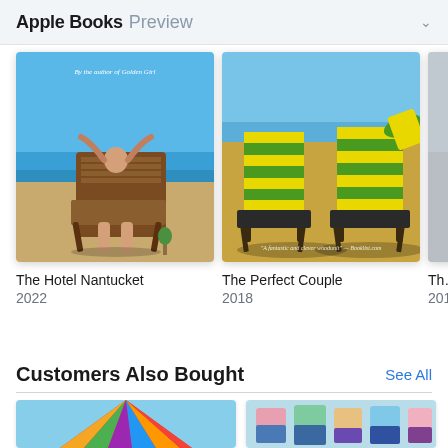Apple Books Preview
[Figure (photo): Book cover: The Hotel Nantucket (2022) — person relaxing in beach chair facing ocean]
The Hotel Nantucket
2022
[Figure (photo): Book cover: The Perfect Couple (2018) — two striped beach chairs on sandy beach]
The Perfect Couple
2018
[Figure (photo): Partially visible third book cover]
Th…
201…
Customers Also Bought
See All
[Figure (photo): Colorful striped beach umbrella book cover]
[Figure (photo): Fashion/clothing book cover with people in summer clothes]